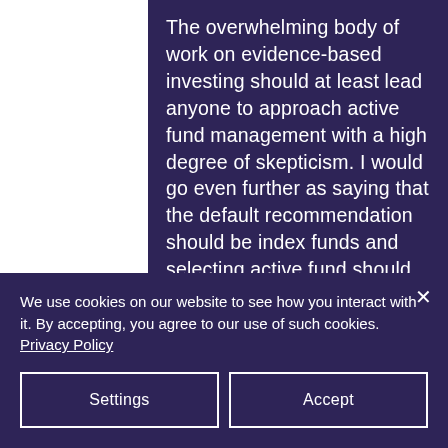The overwhelming body of work on evidence-based investing should at least lead anyone to approach active fund management with a high degree of skepticism. I would go even further as saying that the default recommendation should be index funds and selecting active fund should be only and only where there is demonstrable evidence that it adds value. And by
We use cookies on our website to see how you interact with it. By accepting, you agree to our use of such cookies. Privacy Policy